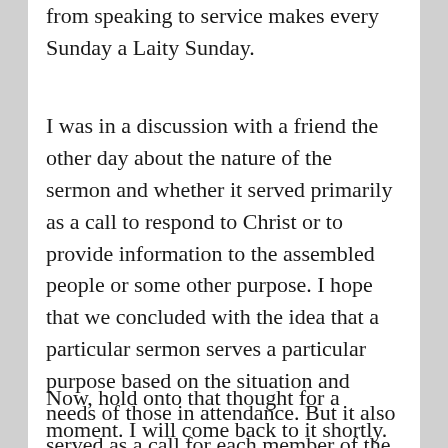from speaking to service makes every Sunday a Laity Sunday.
I was in a discussion with a friend the other day about the nature of the sermon and whether it served primarily as a call to respond to Christ or to provide information to the assembled people or some other purpose. I hope that we concluded with the idea that a particular sermon serves a particular purpose based on the situation and needs of those in attendance. But it also served as a call for each member of the church, the laity, to respond in some way.
Now, hold onto that thought for a moment. I will come back to it shortly.